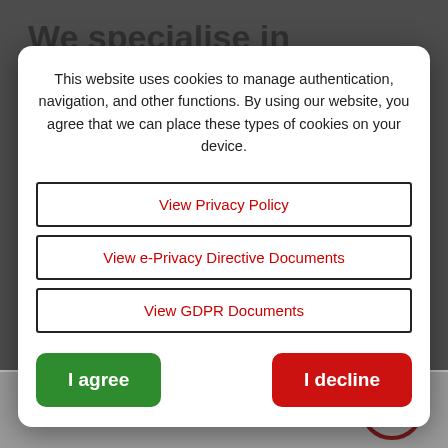We specialise in warehouse, storage and
This website uses cookies to manage authentication, navigation, and other functions. By using our website, you agree that we can place these types of cookies on your device.
View Privacy Policy
View e-Privacy Directive Documents
View GDPR Documents
I agree
I decline
you at your offices to discuss your requirements.
[Figure (logo): Dark red circular logo with double chevron/arrow pointing upward]